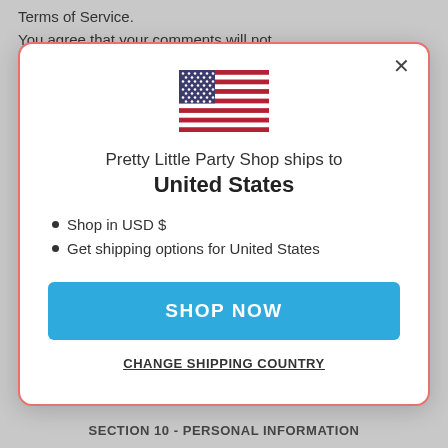Terms of Service.
You agree that your comments will not
[Figure (illustration): US flag SVG illustration]
Pretty Little Party Shop ships to United States
Shop in USD $
Get shipping options for United States
SHOP NOW
CHANGE SHIPPING COUNTRY
SECTION 10 - PERSONAL INFORMATION